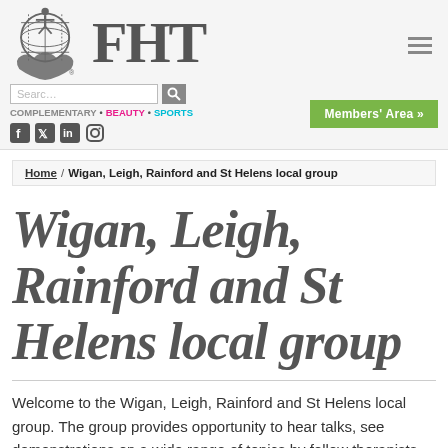[Figure (logo): FHT logo with globe and hands graphic and large FHT text]
COMPLEMENTARY · BEAUTY · SPORTS
Members' Area »
Home / Wigan, Leigh, Rainford and St Helens local group
Wigan, Leigh, Rainford and St Helens local group
Welcome to the Wigan, Leigh, Rainford and St Helens local group. The group provides opportunity to hear talks, see demonstrations on a wide range of topics by fellow therapists